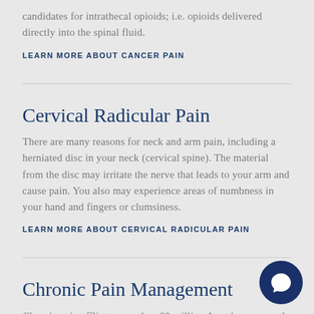candidates for intrathecal opioids; i.e. opioids delivered directly into the spinal fluid.
LEARN MORE ABOUT CANCER PAIN
Cervical Radicular Pain
There are many reasons for neck and arm pain, including a herniated disc in your neck (cervical spine). The material from the disc may irritate the nerve that leads to your arm and cause pain. You also may experience areas of numbness in your hand and fingers or clumsiness.
LEARN MORE ABOUT CERVICAL RADICULAR PAIN
Chronic Pain Management
Chronic pain afflicts more than 80 million Americans caused by an array of diagnosed and undiagnosed conditions.